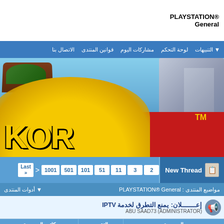PLAYSTATION® General
[Figure (screenshot): Website navigation bar with Arabic menu items: التنبيهات, لوحة التحكم, مشاركات اليوم, قوانين المنتدى, الاتصال بنا]
[Figure (photo): Colorful banner image with cartoon-style graphics, large yellow letters, red background, blue sky, buildings on right side, TM mark visible]
[Figure (screenshot): Pagination bar showing: صفحة 1 من 1289 with page numbers 1, 2, 3, 11, 51, 101, 501, 1001 and < Last arrows. New Thread button on right.]
مواضيع المنتدى : PLAYSTATION® General
أدوات المنتدى
إعـــــــلان: يمنع التطرق لخدمة IPTV
ABU SAAD73 (ADMINISTRATOR)
| الموضوع | التقييم | كاتب الموضوع |
| --- | --- | --- |
| مثبت: PS5 تجمع للمعلومات عن توفر PS5 لمن لم يتمكنوا من الطلب المسبق بعد نفاد الكمية |  | Abu Trouq |
مثبت: PS5 تجمع للمعلومات عن توفر PS5 لمن لم يتمكنوا من الطلب المسبق بعد نفاد الكمية